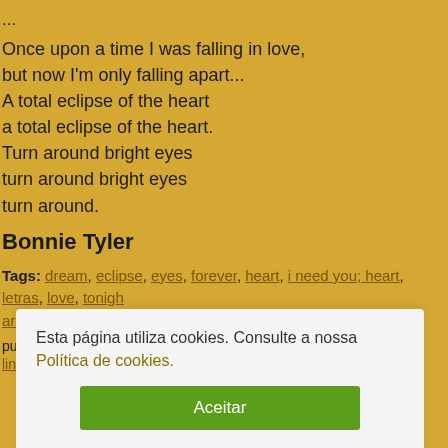...
Once upon a time I was falling in love,
but now I'm only falling apart...
A total eclipse of the heart
a total eclipse of the heart.
Turn around bright eyes
turn around bright eyes
turn around.
Bonnie Tyler
Tags: dream, eclipse, eyes, forever, heart, i need you; heart, letras, love, tonight, around, your arms
publicado por AIMSF às 10:58
link do post | comentar | favorito
Esta página utiliza cookies. Consulte a nossa Política de cookies.
Aceitar